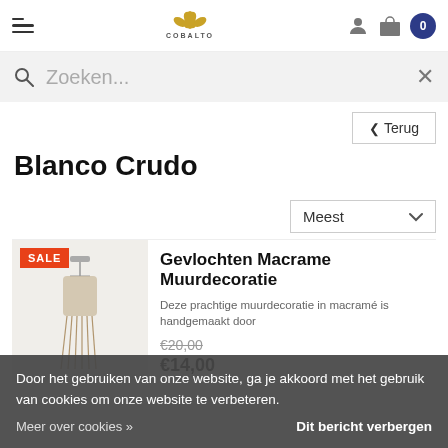Cobalto — navigation header with hamburger menu, logo, user icon, bag icon, cart (0)
Zoeken...
< Terug
Blanco Crudo
Meest
SALE
Gevlochten Macrame Muurdecoratie
Deze prachtige muurdecoratie in macramé is handgemaakt door
€20,00
€14,00
Door het gebruiken van onze website, ga je akkoord met het gebruik van cookies om onze website te verbeteren.
Dit bericht verbergen
Meer over cookies »